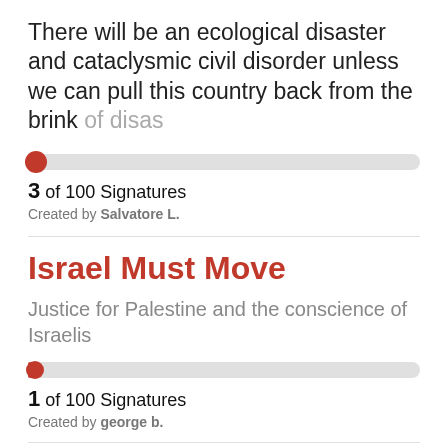There will be an ecological disaster and cataclysmic civil disorder unless we can pull this country back from the brink of disas
[Figure (infographic): Progress bar showing 3 of 100 signatures, with red circle indicator at left and grey bar extending to right]
3 of 100 Signatures
Created by Salvatore L.
Israel Must Move
Justice for Palestine and the conscience of Israelis
[Figure (infographic): Progress bar showing 1 of 100 signatures, with red indicator at left and grey bar extending to right]
1 of 100 Signatures
Created by george b.
repeal the 1947 NSA ACT and